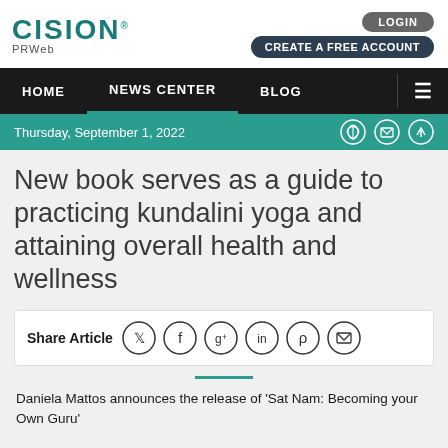CISION PRWeb
LOGIN | CREATE A FREE ACCOUNT
HOME | NEWS CENTER | BLOG
Thursday, September 1, 2022
New book serves as a guide to practicing kundalini yoga and attaining overall health and wellness
Share Article
Daniela Mattos announces the release of 'Sat Nam: Becoming your Own Guru'